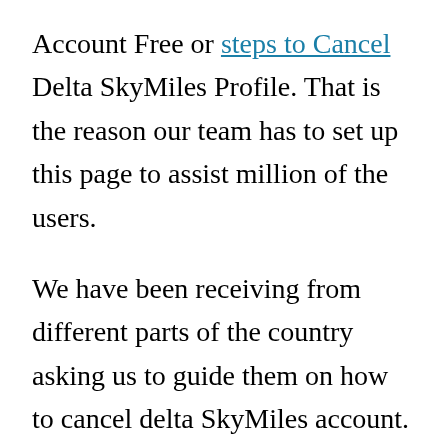Account Free or steps to Cancel Delta SkyMiles Profile. That is the reason our team has to set up this page to assist million of the users.
We have been receiving from different parts of the country asking us to guide them on how to cancel delta SkyMiles account. So all we need from you is to read up this page very carefully so that you can be able to remove your profile.